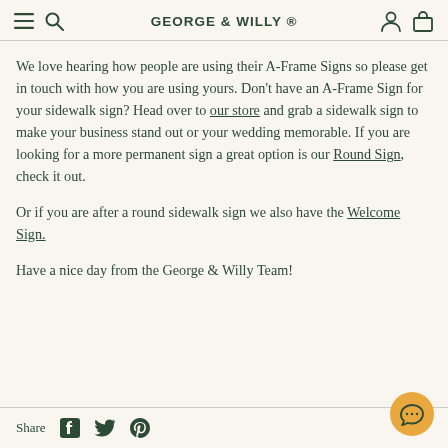GEORGE & WILLY ®
We love hearing how people are using their A-Frame Signs so please get in touch with how you are using yours. Don't have an A-Frame Sign for your sidewalk sign? Head over to our store and grab a sidewalk sign to make your business stand out or your wedding memorable. If you are looking for a more permanent sign a great option is our Round Sign, check it out.
Or if you are after a round sidewalk sign we also have the Welcome Sign.
Have a nice day from the George & Willy Team!
Share